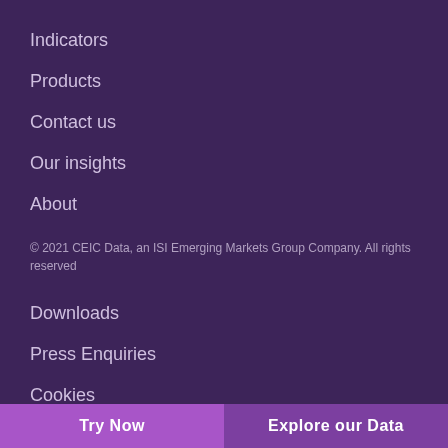Indicators
Products
Contact us
Our insights
About
© 2021 CEIC Data, an ISI Emerging Markets Group Company. All rights reserved
Downloads
Press Enquiries
Cookies
Privacy Policy
Try Now   Explore our Data